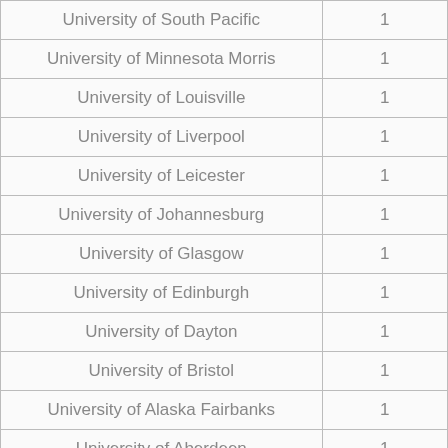| University of South Pacific | 1 |
| University of Minnesota Morris | 1 |
| University of Louisville | 1 |
| University of Liverpool | 1 |
| University of Leicester | 1 |
| University of Johannesburg | 1 |
| University of Glasgow | 1 |
| University of Edinburgh | 1 |
| University of Dayton | 1 |
| University of Bristol | 1 |
| University of Alaska Fairbanks | 1 |
| University of Aberdeen | 1 |
| Universiti Brunei Darussalam | 1 |
| Universiteit Maastricht | 1 |
| Universiteit Politècnique... | 1 |